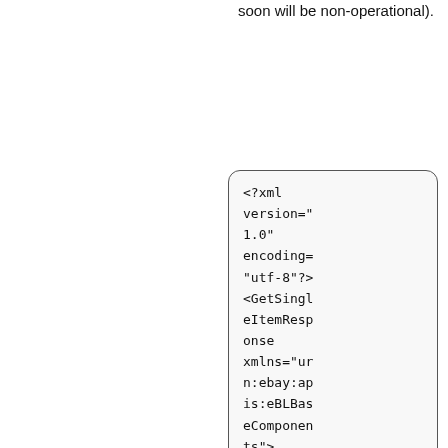soon will be non-operational).
<?xml version="1.0" encoding="utf-8"?><GetSingleItemResponse xmlns="urn:ebay:apis:eBLBaseComponents">    <!-- Call-specific Output Fields --